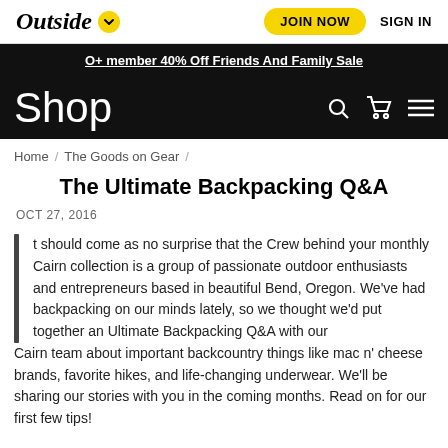Outside  JOIN NOW  SIGN IN
O+ member 40% Off Friends And Family Sale
Shop
Home / The Goods on Gear /
The Ultimate Backpacking Q&A
OCT 27, 2016
It should come as no surprise that the Crew behind your monthly Cairn collection is a group of passionate outdoor enthusiasts and entrepreneurs based in beautiful Bend, Oregon. We've had backpacking on our minds lately, so we thought we'd put together an Ultimate Backpacking Q&A with our Cairn team about important backcountry things like mac n' cheese brands, favorite hikes, and life-changing underwear. We'll be sharing our stories with you in the coming months. Read on for our first few tips!